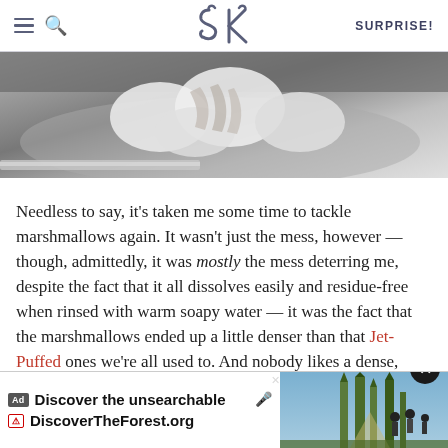SK  SURPRISE!
[Figure (photo): Black and white close-up photo of hands kneading or working with white marshmallow or dough in a bowl]
Needless to say, it's taken me some time to tackle marshmallows again. It wasn't just the mess, however — though, admittedly, it was mostly the mess deterring me, despite the fact that it all dissolves easily and residue-free when rinsed with warm soapy water — it was the fact that the marshmallows ended up a little denser than that Jet-Puffed ones we're all used to. And nobody likes a dense, chewy marshmallow. Especially after all of that aforementioned drama.
[Figure (screenshot): Advertisement banner: 'Discover the unsearchable' with DiscoverTheForest.org URL and a photo of hikers in forest]